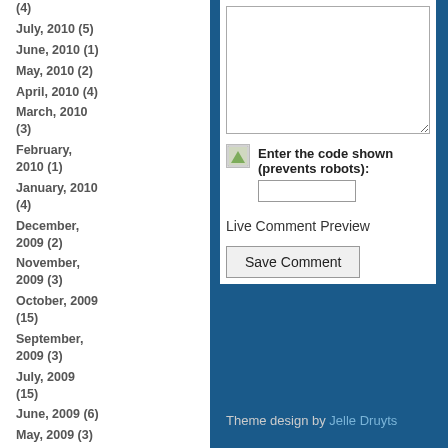(4)
July, 2010 (5)
June, 2010 (1)
May, 2010 (2)
April, 2010 (4)
March, 2010 (3)
February, 2010 (1)
January, 2010 (4)
December, 2009 (2)
November, 2009 (3)
October, 2009 (15)
September, 2009 (3)
July, 2009 (15)
June, 2009 (6)
May, 2009 (3)
April, 2009 (8)
March, 2009 (6)
Enter the code shown (prevents robots):
Live Comment Preview
Save Comment
Theme design by Jelle Druyts